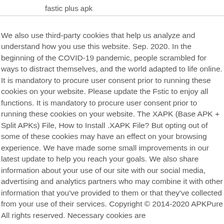fastic plus apk
We also use third-party cookies that help us analyze and understand how you use this website. Sep. 2020. In the beginning of the COVID-19 pandemic, people scrambled for ways to distract themselves, and the world adapted to life online. It is mandatory to procure user consent prior to running these cookies on your website. Please update the Fstic to enjoy all functions. It is mandatory to procure user consent prior to running these cookies on your website. The XAPK (Base APK + Split APKs) File, How to Install .XAPK File? But opting out of some of these cookies may have an effect on your browsing experience. We have made some small improvements in our latest update to help you reach your goals. We also share information about your use of our site with our social media, advertising and analytics partners who may combine it with other information that you've provided to them or that they've collected from your use of their services. Copyright © 2014-2020 APKPure All rights reserved. Necessary cookies are